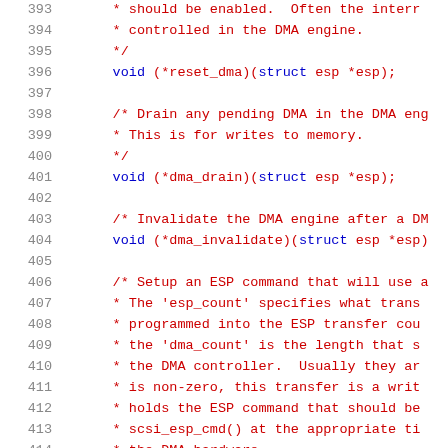Source code listing, lines 393–414, showing C struct function pointer declarations with DMA engine comments.